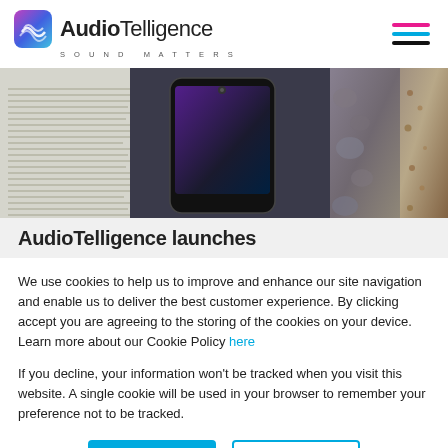AudioTelligence — SOUND MATTERS
[Figure (photo): Hero collage image showing a smartphone on text/papers with textured stone and organic material backgrounds]
AudioTelligence launches
We use cookies to help us to improve and enhance our site navigation and enable us to deliver the best customer experience. By clicking accept you are agreeing to the storing of the cookies on your device. Learn more about our Cookie Policy here
If you decline, your information won't be tracked when you visit this website. A single cookie will be used in your browser to remember your preference not to be tracked.